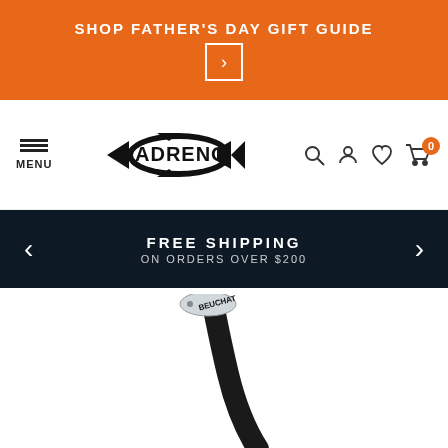SHOP FATHER'S DAY GIFT GUIDE
[Figure (logo): Adreno spearfishing brand logo - fish silhouette with brand name]
FREE SHIPPING ON ORDERS OVER $200
[Figure (photo): Close-up of a Beuchat snorkel top against white background, showing the mouthpiece clip area and curved dark tube]